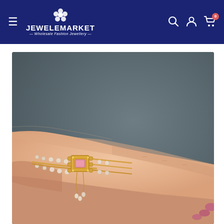JEWELEMARKET — Wholesale Fashion Jewellery — navigation header with search, account, and cart icons
[Figure (photo): A woman's hand wearing a decorative gold bracelet with pearls and a pink gemstone centerpiece, photographed against a dark grey background. The bracelet features multiple strands with pearl accents and a rectangular gold clasp with pink stone.]